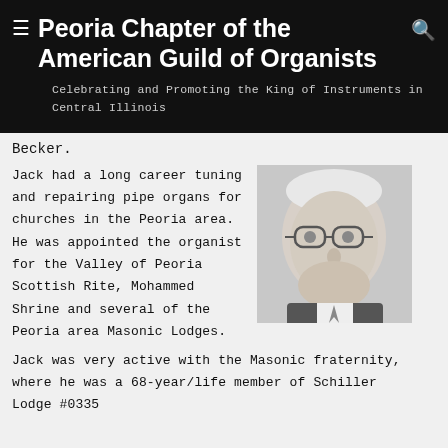Peoria Chapter of the American Guild of Organists
Celebrating and Promoting the King of Instruments in Central Illinois
Becker.
[Figure (photo): Black and white portrait photo of an elderly man with glasses wearing a suit and tie]
Jack had a long career tuning and repairing pipe organs for churches in the Peoria area. He was appointed the organist for the Valley of Peoria Scottish Rite, Mohammed Shrine and several of the Peoria area Masonic Lodges.
Jack was very active with the Masonic fraternity, where he was a 68-year/life member of Schiller Lodge #0335...